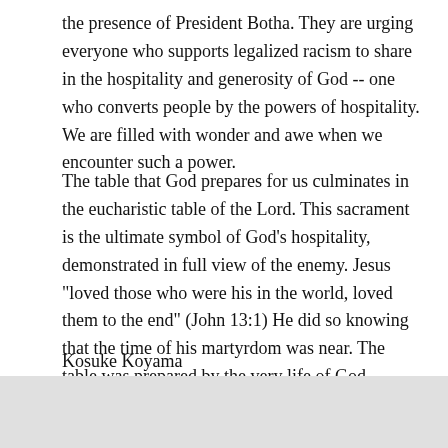the presence of President Botha. They are urging everyone who supports legalized racism to share in the hospitality and generosity of God -- one who converts people by the powers of hospitality. We are filled with wonder and awe when we encounter such a power.
The table that God prepares for us culminates in the eucharistic table of the Lord. This sacrament is the ultimate symbol of God's hospitality, demonstrated in full view of the enemy. Jesus "loved those who were his in the world, loved them to the end" (John 13:1) He did so knowing that the time of his martyrdom was near. The table was prepared by the very life of God.
Kosuke Koyama